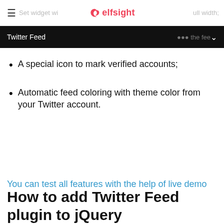Set widget width to full width; elfsight
Twitter Feed
A special icon to mark verified accounts;
Automatic feed coloring with theme color from your Twitter account.
You can test all features with the help of live demo
How to add Twitter Feed plugin to jQuery